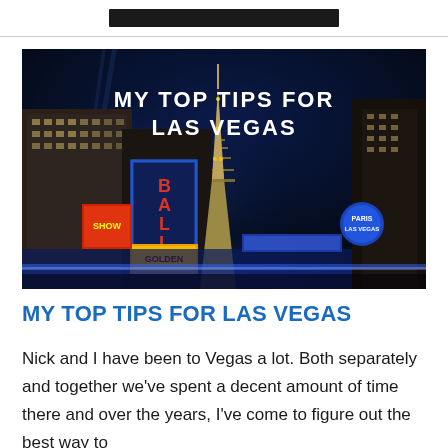[Figure (photo): Night photo of the Las Vegas Strip showing the Paris Las Vegas Eiffel Tower replica, Bally's hotel sign, and other illuminated casino buildings against a dark blue sky. White bold text overlay reads 'MY TOP TIPS FOR LAS VEGAS'.]
MY TOP TIPS FOR LAS VEGAS
Nick and I have been to Vegas a lot.  Both separately and together we've spent a decent amount of time there and over the years, I've come to figure out the best way to